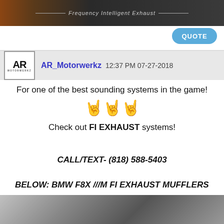[Figure (photo): Top banner image with dark background showing 'Frequency Intelligent Exhaust' text with decorative lines]
QUOTE
AR_Motorwerkz 12:37 PM 07-27-2018
For one of the best sounding systems in the game! 🤘🤘🤘
Check out FI EXHAUST systems!
CALL/TEXT- (818) 588-5403
BELOW: BMW F8X ///M FI EXHAUST MUFFLERS
[Figure (photo): Photo of BMW F8X M FI Exhaust mufflers on a gray surface]